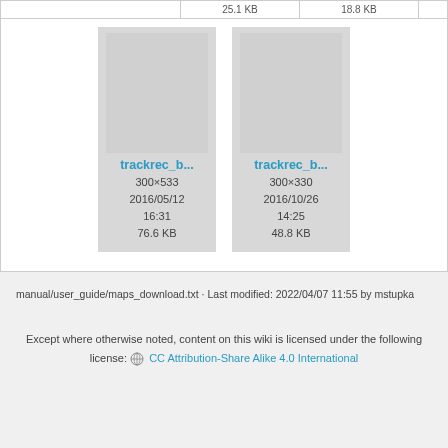[Figure (screenshot): File browser thumbnail cards showing two image files: trackrec_b... (300×533, 2016/05/12 16:31, 76.6 KB) and trackrec_b... (300×330, 2016/10/26 14:25, 48.8 KB)]
manual/user_guide/maps_download.txt · Last modified: 2022/04/07 11:55 by mstupka
Except where otherwise noted, content on this wiki is licensed under the following license: CC Attribution-Share Alike 4.0 International